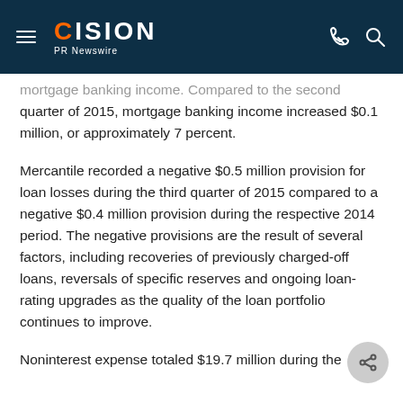CISION PR Newswire
mortgage banking income.  Compared to the second quarter of 2015, mortgage banking income increased $0.1 million, or approximately 7 percent.
Mercantile recorded a negative $0.5 million provision for loan losses during the third quarter of 2015 compared to a negative $0.4 million provision during the respective 2014 period.  The negative provisions are the result of several factors, including recoveries of previously charged-off loans, reversals of specific reserves and ongoing loan-rating upgrades as the quality of the loan portfolio continues to improve.
Noninterest expense totaled $19.7 million during the